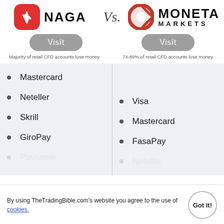[Figure (logo): NAGA logo: red rounded square icon with lightning bolt, bold text NAGA]
[Figure (logo): Moneta Markets logo: red circular target icon, bold text MONETA MARKETS]
Vs.
[Figure (other): Visit button for NAGA (grey rounded pill)]
[Figure (other): Visit button for Moneta Markets (grey rounded pill)]
Majority of retail CFD accounts lose money.
74-89% of retail CFD accounts lose money.
Mastercard
Neteller
Visa
Skrill
Mastercard
GiroPay
FasaPay
By using TheTradingBible.com's website you agree to the use of cookies.